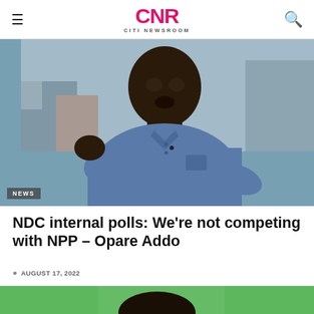CNR CITI NEWSROOM
[Figure (photo): Man in blue denim shirt gesturing with his hand, speaking, with buildings visible in background through a window. NEWS badge overlay at bottom left.]
NDC internal polls: We're not competing with NPP – Opare Addo
AUGUST 17, 2022
[Figure (photo): Bottom portion of a person's face/head against a green background, partially visible at bottom of page.]